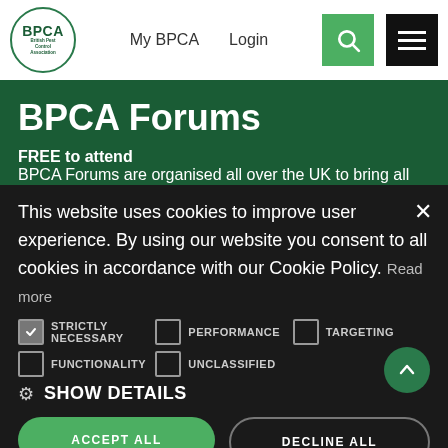My BPCA  Login
BPCA Forums
FREE to attend
BPCA Forums are organised all over the UK to bring all
This website uses cookies to improve user experience. By using our website you consent to all cookies in accordance with our Cookie Policy. Read more
STRICTLY NECESSARY  PERFORMANCE  TARGETING  FUNCTIONALITY  UNCLASSIFIED
SHOW DETAILS
ACCEPT ALL  DECLINE ALL